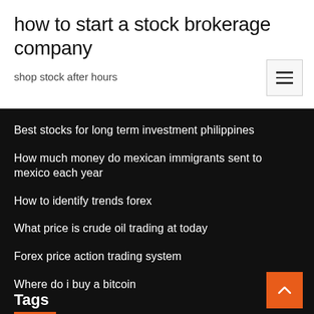how to start a stock brokerage company
shop stock after hours
Best stocks for long term investment philippines
How much money do mexican immigrants sent to mexico each year
How to identify trends forex
What price is crude oil trading at today
Forex price action trading system
Where do i buy a bitcoin
Tags